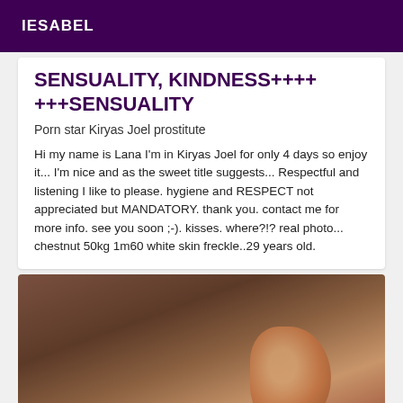IESABEL
SENSUALITY, KINDNESS+++++++SENSUALITY
Porn star Kiryas Joel prostitute
Hi my name is Lana I'm in Kiryas Joel for only 4 days so enjoy it... I'm nice and as the sweet title suggests... Respectful and listening I like to please. hygiene and RESPECT not appreciated but MANDATORY. thank you. contact me for more info. see you soon ;-). kisses. where?!? real photo... chestnut 50kg 1m60 white skin freckle..29 years old.
[Figure (photo): Close-up photo with warm brown tones, appears to show skin/body detail in dim lighting]